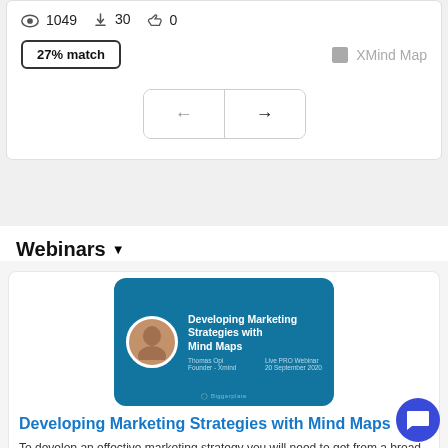👁 1049  ⬇ 30  👍 0
27% match
XMind Map
[Figure (screenshot): Navigation buttons with left and right arrows]
Webinars ▾
[Figure (screenshot): Webinar thumbnail: Developing Marketing Strategies with Mind Maps, Thomas Opi, Founder - Xmind, Live PRO Webinar 20 September 2020, Biggerplate logo]
Developing Marketing Strategies with Mind Maps
To develop an effective marketing strategy you will need to get from a broad vision to the everyday marketing...